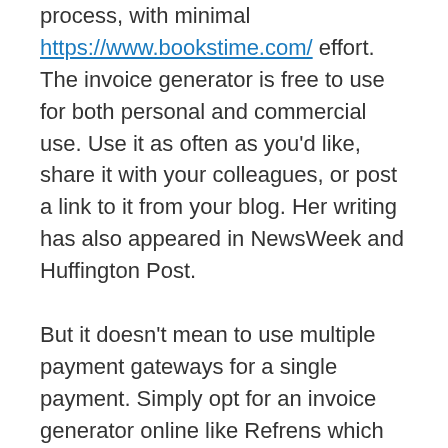process, with minimal https://www.bookstime.com/ effort. The invoice generator is free to use for both personal and commercial use. Use it as often as you'd like, share it with your colleagues, or post a link to it from your blog. Her writing has also appeared in NewsWeek and Huffington Post.
But it doesn't mean to use multiple payment gateways for a single payment. Simply opt for an invoice generator online like Refrens which provides the feature of a payment gateway within the invoice creation process. For instance, Refrens provide the online payment option of debit and credit card. It is a good practice to send